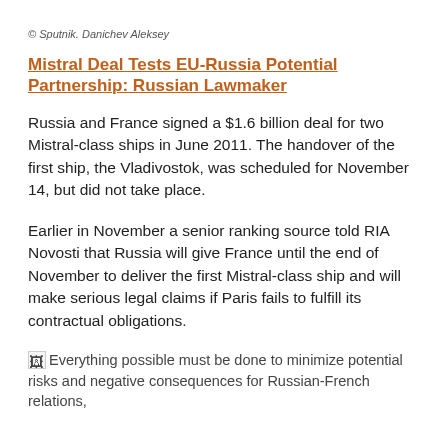© Sputnik. Danichev Aleksey
Mistral Deal Tests EU-Russia Potential Partnership: Russian Lawmaker
Russia and France signed a $1.6 billion deal for two Mistral-class ships in June 2011. The handover of the first ship, the Vladivostok, was scheduled for November 14, but did not take place.
Earlier in November a senior ranking source told RIA Novosti that Russia will give France until the end of November to deliver the first Mistral-class ship and will make serious legal claims if Paris fails to fulfill its contractual obligations.
Everything possible must be done to minimize potential risks and negative consequences for Russian-French relations,